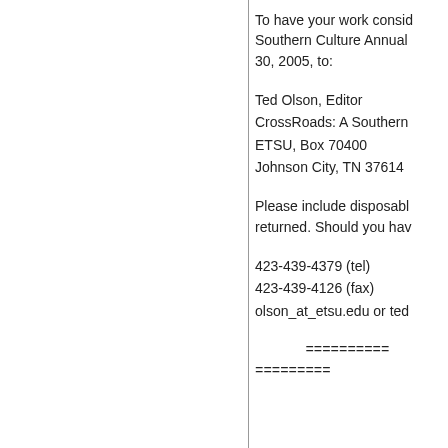To have your work considered for the Southern Culture Annual, send by September 30, 2005, to:
Ted Olson, Editor
CrossRoads: A Southern Culture Annual
ETSU, Box 70400
Johnson City, TN 37614
Please include disposable copies to be returned. Should you have questions:
423-439-4379 (tel)
423-439-4126 (fax)
olson_at_etsu.edu or ted...
==========
=========